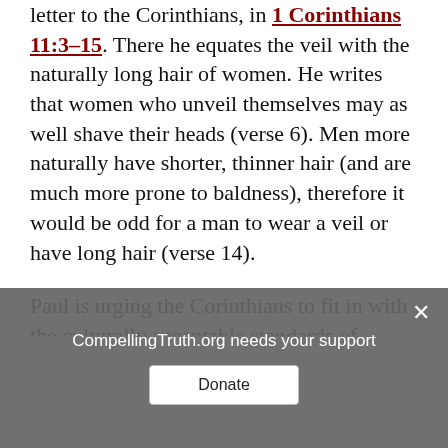letter to the Corinthians, in 1 Corinthians 11:3–15. There he equates the veil with the naturally long hair of women. He writes that women who unveil themselves may as well shave their heads (verse 6). Men more naturally have shorter, thinner hair (and are much more prone to baldness), therefore it would be odd for a man to wear a veil or have long hair (verse 14).
Paul is urging the Corinthians to fit in with the culturally acceptable standards of…
CompellingTruth.org needs your support
Donate